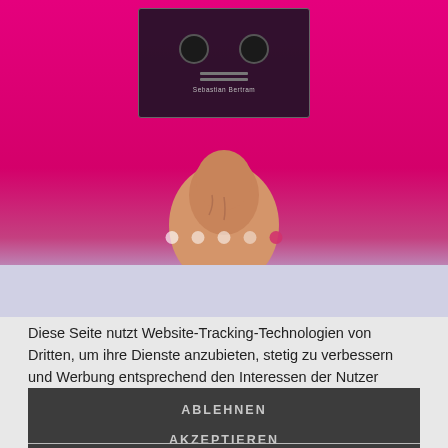[Figure (screenshot): Top portion of a webpage with magenta/pink background showing a product card with wheels on a dark overlay, a hand reaching up from bottom, slide indicator dots, and a lavender strip below]
Diese Seite nutzt Website-Tracking-Technologien von Dritten, um ihre Dienste anzubieten, stetig zu verbessern und Werbung entsprechend den Interessen der Nutzer anzuzeigen.
ABLEHNEN
AKZEPTIEREN
MEHR